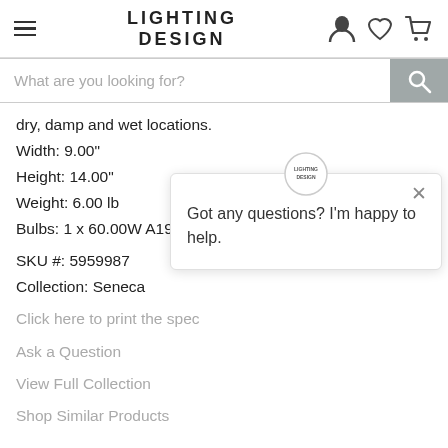LIGHTING DESIGN
dry, damp and wet locations.
Width: 9.00"
Height: 14.00"
Weight: 6.00 lb
Bulbs: 1 x 60.00W A19 E26
SKU #: 5959987
Collection: Seneca
Click here to print the spec
Ask a Question
View Full Collection
Shop Similar Products